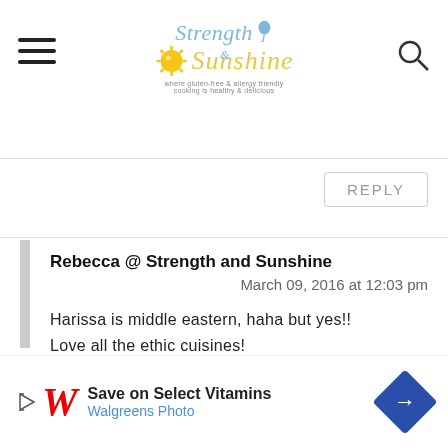Strength & Sunshine — where gluten-free & allergy-friendly cooking is healthy & delicious
REPLY
Rebecca @ Strength and Sunshine
March 09, 2016 at 12:03 pm
Harissa is middle eastern, haha but yes!! Love all the ethic cuisines!
REPLY
[Figure (screenshot): Walgreens ad banner: Save on Select Vitamins, Walgreens Photo]